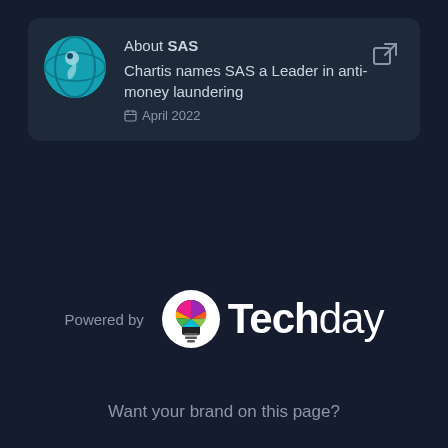[Figure (logo): SAS company logo - teal globe with figure icon]
About SAS
Chartis names SAS a Leader in anti-money laundering
April 2022
[Figure (logo): TechDay logo - colorful lightbulb icon with Techday wordmark]
Powered by
Want your brand on this page?